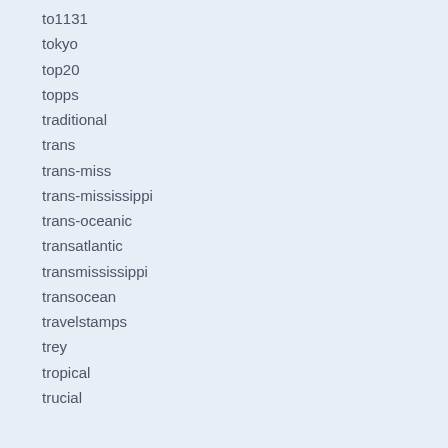to1131
tokyo
top20
topps
traditional
trans
trans-miss
trans-mississippi
trans-oceanic
transatlantic
transmississippi
transocean
travelstamps
trey
tropical
trucial